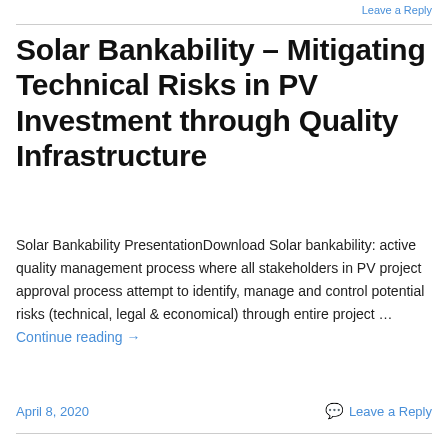Leave a Reply
Solar Bankability – Mitigating Technical Risks in PV Investment through Quality Infrastructure
Solar Bankability PresentationDownload Solar bankability: active quality management process where all stakeholders in PV project approval process attempt to identify, manage and control potential risks (technical, legal & economical) through entire project … Continue reading →
April 8, 2020   Leave a Reply